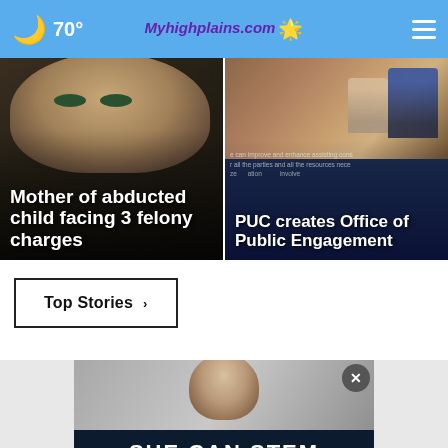🌙 70° — Myhighplains.com — ☰
[Figure (photo): Close-up photo of a person's face (upper portion) with dark background — news card for 'Mother of abducted child facing 3 felony charges']
Mother of abducted child facing 3 felony charges
[Figure (photo): Photo of people at what appears to be a hearing room or government chamber — news card for 'PUC creates Office of Public Engagement']
PUC creates Office of Public Engagement
Top Stories  ›
[Figure (photo): Promotional banner image with a person and dark background]
SHE CAN STEM